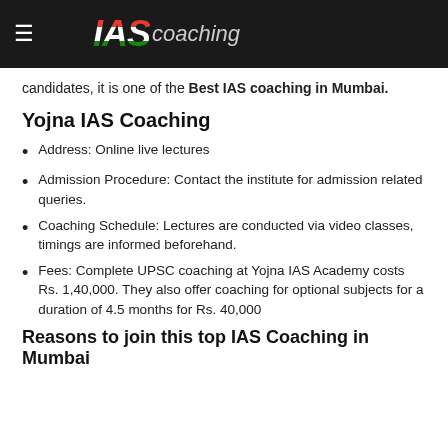IAS coaching
candidates, it is one of the Best IAS coaching in Mumbai.
Yojna IAS Coaching
Address: Online live lectures
Admission Procedure: Contact the institute for admission related queries.
Coaching Schedule: Lectures are conducted via video classes, timings are informed beforehand.
Fees: Complete UPSC coaching at Yojna IAS Academy costs Rs. 1,40,000. They also offer coaching for optional subjects for a duration of 4.5 months for Rs. 40,000
Reasons to join this top IAS Coaching in Mumbai